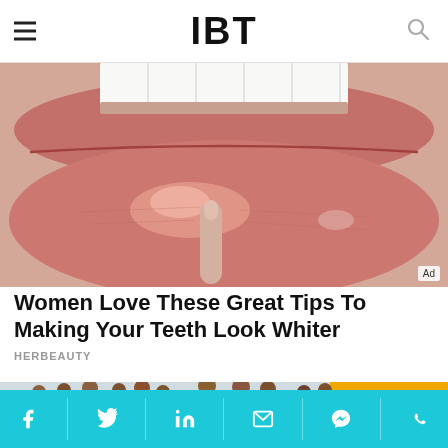IBT
[Figure (photo): Close-up photo of a woman's lips and teeth, used as an advertisement image with 'Ad' label in bottom-right corner.]
Women Love These Great Tips To Making Your Teeth Look Whiter
HERBEAUTY
[Figure (photo): Photo of a group of police officers in khaki uniforms standing on a roadside near a yellow JCB construction vehicle.]
Social sharing bar with Facebook, Twitter, LinkedIn, Email, Messenger, WhatsApp icons